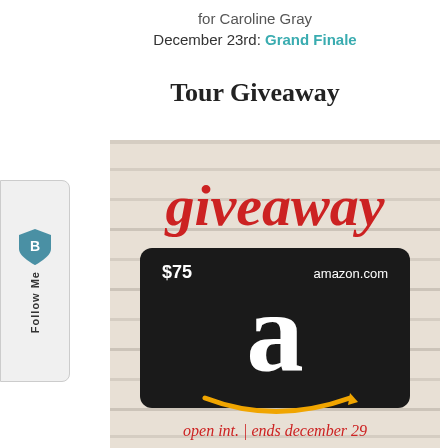for Caroline Gray
December 23rd: Grand Finale
Tour Giveaway
[Figure (illustration): Giveaway promotional image showing the word 'giveaway' in red serif font above a black Amazon.com $75 gift card on a white wood-plank background, with text 'open int. | ends december 29' in red at the bottom.]